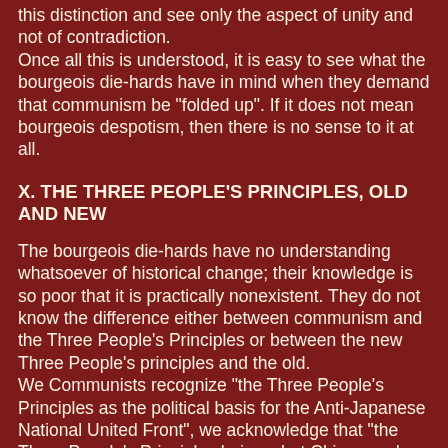this distinction and see only the aspect of unity and not of contradiction. Once all this is understood, it is easy to see what the bourgeois die-hards have in mind when they demand that communism be "folded up". If it does not mean bourgeois despotism, then there is no sense to it at all.
X. THE THREE PEOPLE'S PRINCIPLES, OLD AND NEW
The bourgeois die-hards have no understanding whatsoever of historical change; their knowledge is so poor that it is practically nonexistent. They do not know the difference either between communism and the Three People's Principles or between the new Three People's principles and the old. We Communists recognize "the Three People's Principles as the political basis for the Anti-Japanese National United Front", we acknowledge that "the Three People's Principles being what China needs today, our Party is ready to fight for their complete realization" and we admit the basic agreement between the communist minimum programme and the political tenets of the Three People's Principles.